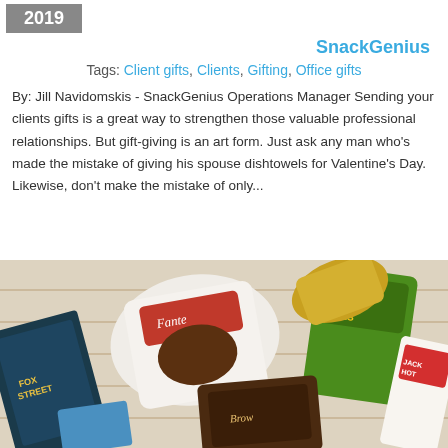2019
SnackGenius
Tags: Client gifts, Clients, Gifting, Office gifts
By: Jill Navidomskis - SnackGenius Operations Manager Sending your clients gifts is a great way to strengthen those valuable professional relationships. But gift-giving is an art form. Just ask any man who's made the mistake of giving his spouse dishtowels for Valentine's Day. Likewise, don't make the mistake of only...
[Figure (photo): Overhead photo of various snack packages arranged on a white wooden surface, including Chocolate Chip Bites, Brownie bites, a Fante's branded bag, and other snack items.]